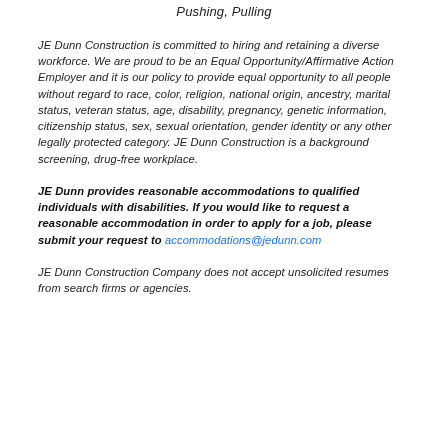Pushing, Pulling
JE Dunn Construction is committed to hiring and retaining a diverse workforce. We are proud to be an Equal Opportunity/Affirmative Action Employer and it is our policy to provide equal opportunity to all people without regard to race, color, religion, national origin, ancestry, marital status, veteran status, age, disability, pregnancy, genetic information, citizenship status, sex, sexual orientation, gender identity or any other legally protected category. JE Dunn Construction is a background screening, drug-free workplace.
JE Dunn provides reasonable accommodations to qualified individuals with disabilities. If you would like to request a reasonable accommodation in order to apply for a job, please submit your request to accommodations@jedunn.com
JE Dunn Construction Company does not accept unsolicited resumes from search firms or agencies.